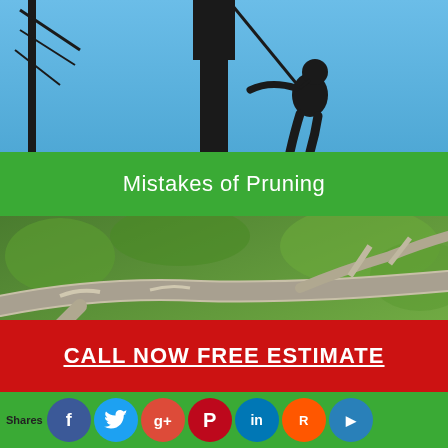[Figure (photo): Silhouette of a person climbing or working on a structure against a blue sky background]
Mistakes of Pruning
[Figure (photo): Close-up photograph of tree branches being pruned, with green foliage in the background]
CALL NOW FREE ESTIMATE
Shares